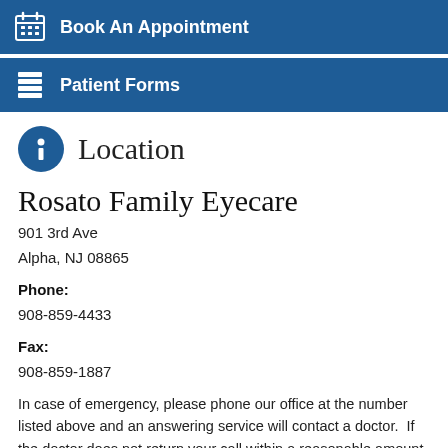Book An Appointment
Patient Forms
Location
Rosato Family Eyecare
901 3rd Ave
Alpha, NJ 08865
Phone:
908-859-4433
Fax:
908-859-1887
In case of emergency, please phone our office at the number listed above and an answering service will contact a doctor.  If the doctor does not return your call within a reasonable amount of time please go to the